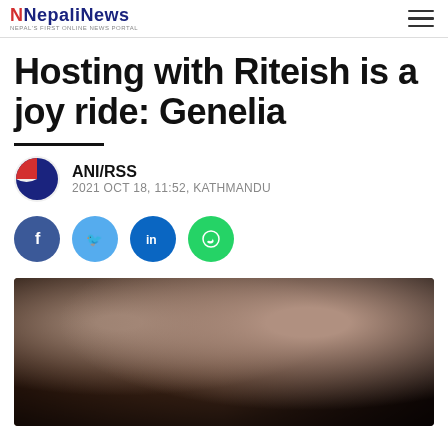NepaliNews — Nepal's First Online News Portal
Hosting with Riteish is a joy ride: Genelia
ANI/RSS
2021 OCT 18, 11:52, KATHMANDU
[Figure (photo): Close-up photo of a man and woman (Riteish and Genelia) looking at the camera]